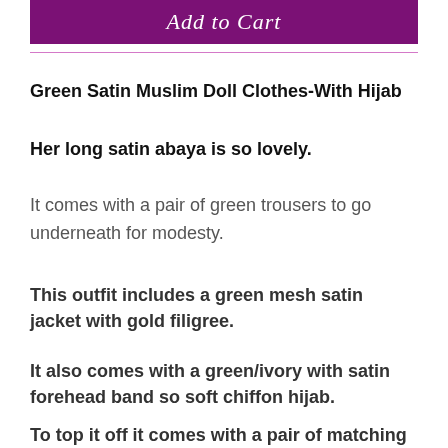[Figure (other): Purple 'Add to Cart' button]
Green Satin Muslim Doll Clothes-With Hijab
Her long satin abaya is so lovely.
It comes with a pair of green trousers to go underneath for modesty.
This outfit includes a green mesh satin jacket with gold filigree.
It also comes with a green/ivory with satin forehead band so soft chiffon hijab.
To top it off it comes with a pair of matching fancy [...]